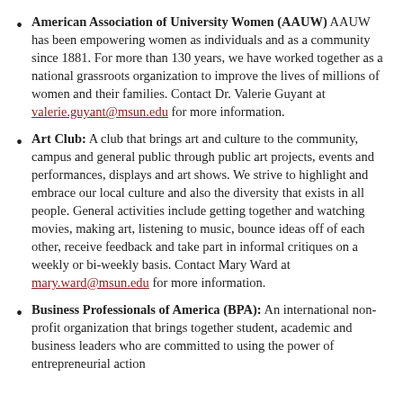American Association of University Women (AAUW) AAUW has been empowering women as individuals and as a community since 1881. For more than 130 years, we have worked together as a national grassroots organization to improve the lives of millions of women and their families. Contact Dr. Valerie Guyant at valerie.guyant@msun.edu for more information.
Art Club: A club that brings art and culture to the community, campus and general public through public art projects, events and performances, displays and art shows. We strive to highlight and embrace our local culture and also the diversity that exists in all people. General activities include getting together and watching movies, making art, listening to music, bounce ideas off of each other, receive feedback and take part in informal critiques on a weekly or bi-weekly basis. Contact Mary Ward at mary.ward@msun.edu for more information.
Business Professionals of America (BPA): An international non-profit organization that brings together student, academic and business leaders who are committed to using the power of entrepreneurial action